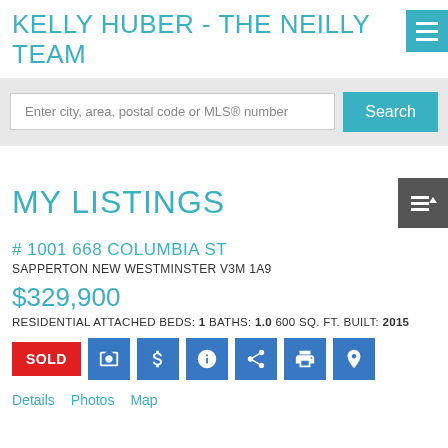KELLY HUBER - THE NEILLY TEAM
Enter city, area, postal code or MLS® number
MY LISTINGS
# 1001 668 COLUMBIA ST
SAPPERTON NEW WESTMINSTER V3M 1A9
$329,900
RESIDENTIAL ATTACHED BEDS: 1 BATHS: 1.0 600 SQ. FT. BUILT: 2015
SOLD
Details  Photos  Map